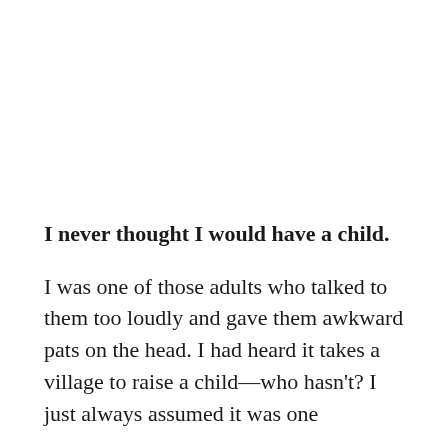I never thought I would have a child.
I was one of those adults who talked to them too loudly and gave them awkward pats on the head. I had heard it takes a village to raise a child—who hasn't? I just always assumed it was one